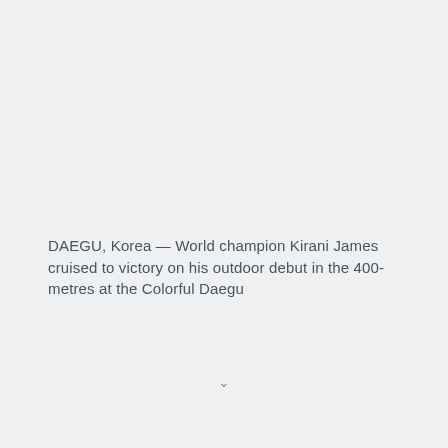DAEGU, Korea — World champion Kirani James cruised to victory on his outdoor debut in the 400-metres at the Colorful Daegu...